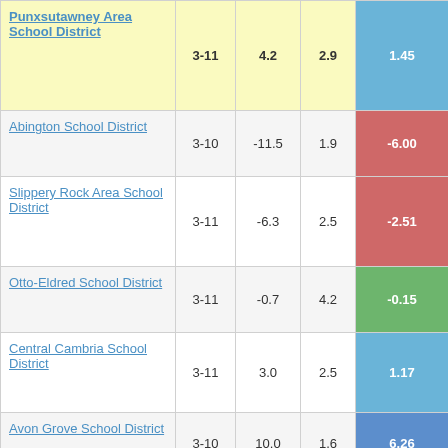| School District | Grades | Col3 | Col4 | Col5 |
| --- | --- | --- | --- | --- |
| Punxsutawney Area School District | 3-11 | 4.2 | 2.9 | 1.45 |
| Abington School District | 3-10 | -11.5 | 1.9 | -6.00 |
| Slippery Rock Area School District | 3-11 | -6.3 | 2.5 | -2.51 |
| Otto-Eldred School District | 3-11 | -0.7 | 4.2 | -0.15 |
| Central Cambria School District | 3-11 | 3.0 | 2.5 | 1.17 |
| Avon Grove School District | 3-10 | 10.0 | 1.6 | 6.26 |
| Eastern York School District | 3-11 | 9.6 | 2.6 | 3.71 |
| Palmyra Area | 3-11 | 5.6 | 1.9 | 2.86 |